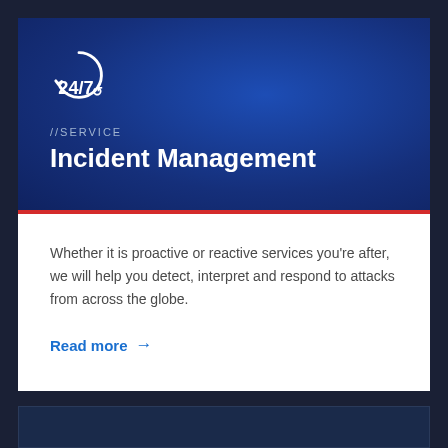[Figure (logo): 24/7 clock icon with circular arrow, white on dark blue background]
//SERVICE
Incident Management
Whether it is proactive or reactive services you're after, we will help you detect, interpret and respond to attacks from across the globe.
Read more →